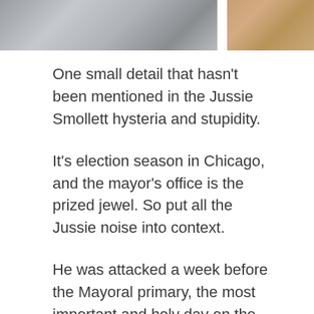[Figure (photo): Two photo strips at the top of the page: left photo shows gray fabric/cloth texture, right photo shows warm wooden tones]
One small detail that hasn't been mentioned in the Jussie Smollett hysteria and stupidity.
It's election season in Chicago, and the mayor's office is the prized jewel. So put all the Jussie noise into context.
He was attacked a week before the Mayoral primary, the most important and holy day on the Chicago and Cook County calendar. It is the day that